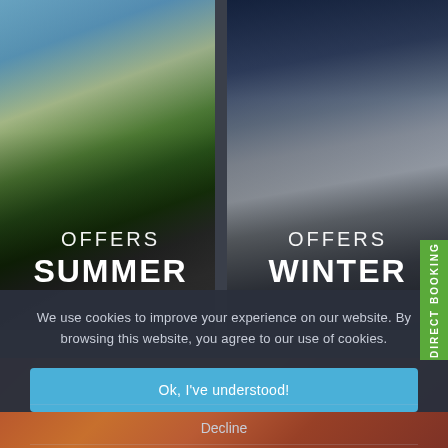[Figure (photo): Summer mountain landscape with trees and blue sky - left panel with 'OFFERS SUMMER' text overlay]
[Figure (photo): Winter mountain landscape with bright sun shining over misty peaks - right panel with 'OFFERS WINTER' text overlay]
DIRECT BOOKING
We use cookies to improve your experience on our website. By browsing this website, you agree to our use of cookies.
Ok, I've understood!
Decline
Settings